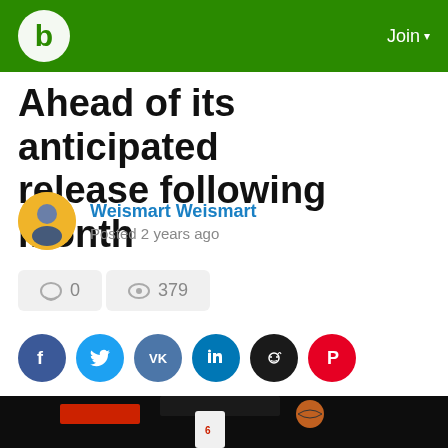b  Join
Ahead of its anticipated release following month
Weismart Weismart
Posted 2 years ago
0  379
[Figure (screenshot): Basketball game screenshot showing a player in a white jersey with number 6 about to dunk near the hoop, with a dark arena background]
[Figure (logo): Social share buttons: Facebook, Twitter, VK, LinkedIn, Reddit, Pinterest]